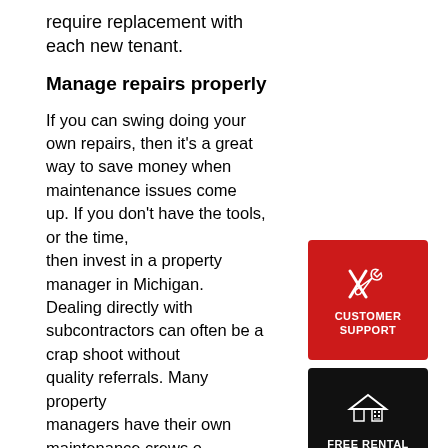require replacement with each new tenant.
Manage repairs properly
If you can swing doing your own repairs, then it's a great way to save money when maintenance issues come up. If you don't have the tools, or the time, then invest in a property manager in Michigan. Dealing directly with subcontractors can often be a crap shoot without quality referrals. Many property managers have their own maintenance crews or preferred providers, plus they provide a variety of others services (see below)
[Figure (illustration): Red badge with tools/wrench icon and text CUSTOMER SUPPORT]
Get specific when advertising for tenants
[Figure (illustration): Black badge with house/calculator icon and text FREE RENTAL ANALYSIS]
If you put out a general ad with the amenities cost, you'll